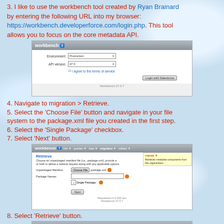3. I like to use the workbench tool created by Ryan Brainard by entering the following URL into my browser: https://workbench.developerforce.com/login.php. This tool allows you to focus on the core metadata API.
[Figure (screenshot): Screenshot of Workbench 27.0.7 login screen showing Environment and API Version dropdowns and Login with Salesforce button]
4. Navigate to migration > Retrieve.
5. Select the 'Choose File' button and navigate in your file system to the package.xml file you created in the first step.
6. Select the 'Single Package' checkbox.
7. Select 'Next' button.
[Figure (screenshot): Screenshot of Workbench Retrieve page showing Unpackaged Manifest file chooser with package.xml, Package Names field, Single Package checkbox, and Next button]
8. Select 'Retrieve' button.
[Figure (screenshot): Partial screenshot of Workbench navigation bar]